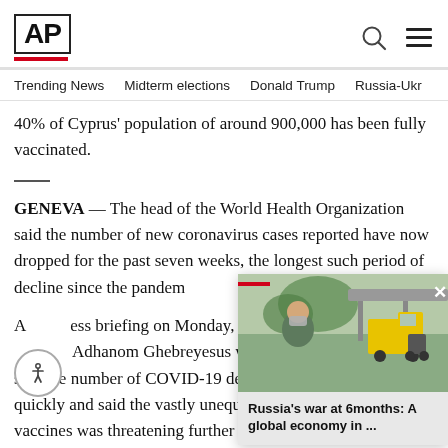AP
Trending News   Midterm elections   Donald Trump   Russia-Ukr
40% of Cyprus' population of around 900,000 has been fully vaccinated.
GENEVA — The head of the World Health Organization said the number of new coronavirus cases reported have now dropped for the past seven weeks, the longest such period of decline since the pandem
At a press briefing on Monday, WH... Adhanom Ghebreyesus wel... said the number of COVID-19 deat... quickly and said the vastly unequal... vaccines was threatening further p
[Figure (photo): Popup overlay showing a person wearing a mask outdoors with a truck in the background, with AP red bar and close button, and caption 'Russia's war at 6months: A global economy in ...']